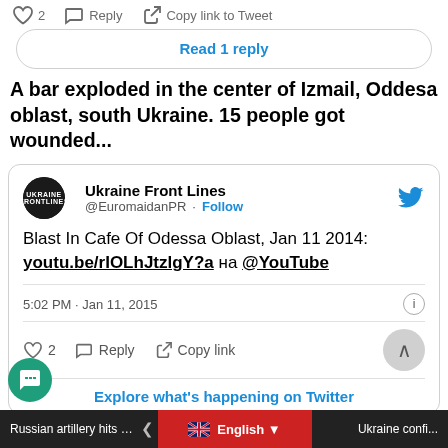[Figure (screenshot): Twitter/X interface showing top action bar with heart icon (2 likes), Reply button, and Copy link to Tweet button]
[Figure (screenshot): Read 1 reply button in rounded rectangle]
A bar exploded in the center of Izmail, Oddesa oblast, south Ukraine. 15 people got wounded...
[Figure (screenshot): Tweet card from Ukraine Front Lines (@EuromaidanPR) with Follow button and Twitter bird logo. Tweet text: Blast In Cafe Of Odessa Oblast, Jan 11 2014: youtu.be/rIOLhJtzlgY?a на @YouTube. Posted 5:02 PM · Jan 11, 2015. Actions: 2 likes, Reply, Copy link. Explore what's happening on Twitter link.]
Russian artillery hits Donetsk at night   English ▼   Ukraine confi...